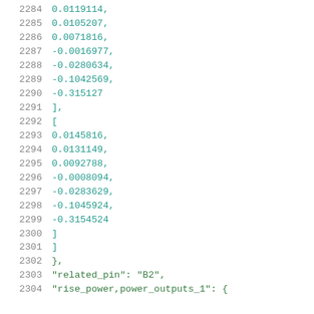Code listing lines 2284-2304 showing numeric array values and JSON keys: related_pin, rise_power,power_outputs_1